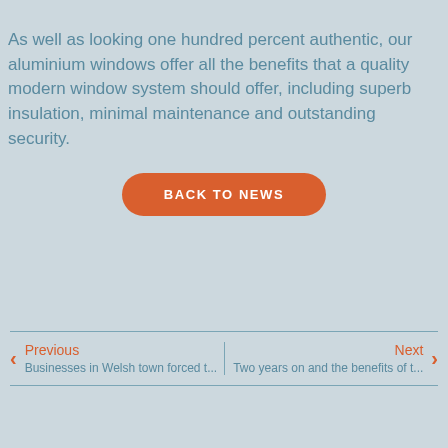As well as looking one hundred percent authentic, our aluminium windows offer all the benefits that a quality modern window system should offer, including superb insulation, minimal maintenance and outstanding security.
[Figure (other): Orange rounded button with white uppercase text reading 'BACK TO NEWS']
Previous | Businesses in Welsh town forced t...
Next | Two years on and the benefits of t...